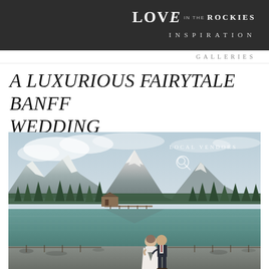LOVE IN THE ROCKIES
INSPIRATION
GALLERIES
A LUXURIOUS FAIRYTALE BANFF WEDDING
[Figure (photo): Wedding couple standing by a turquoise mountain lake with snow-capped Rocky Mountains and evergreen forest in background. Bride in white gown, groom in dark suit. A wooden dock and lodge visible across the lake. Overcast sky.]
LOCAL VENDORS